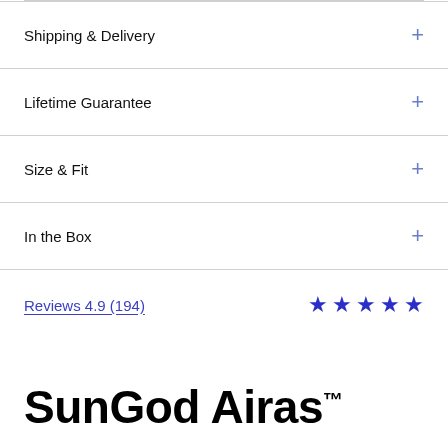Shipping & Delivery
Lifetime Guarantee
Size & Fit
In the Box
Reviews 4.9 (194) ★★★★★
SunGod Airas™